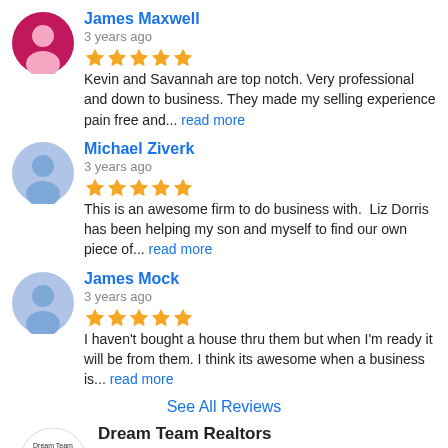James Maxwell
3 years ago
Kevin and Savannah are top notch. Very professional and down to business. They made my selling experience pain free and... read more
Michael Ziverk
3 years ago
This is an awesome firm to do business with. Liz Dorris has been helping my son and myself to find our own piece of... read more
James Mock
3 years ago
I haven't bought a house thru them but when I'm ready it will be from them. I think its awesome when a business is... read more
See All Reviews
Dream Team Realtors
5.0
Based on 5 reviews